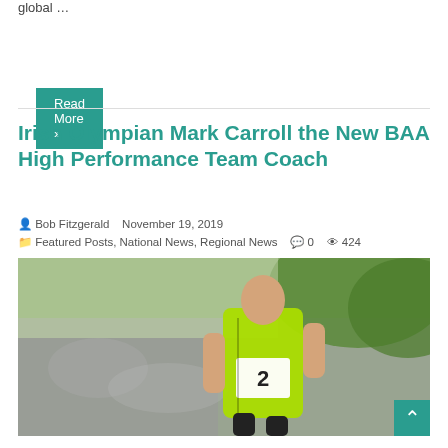global …
Read More »
Irish Olympian Mark Carroll the New BAA High Performance Team Coach
Bob Fitzgerald   November 19, 2019
Featured Posts, National News, Regional News   0   424
[Figure (photo): A runner wearing a yellow-green Adidas vest with bib number 2 racing in front of a large crowd, outdoors with trees in the background.]